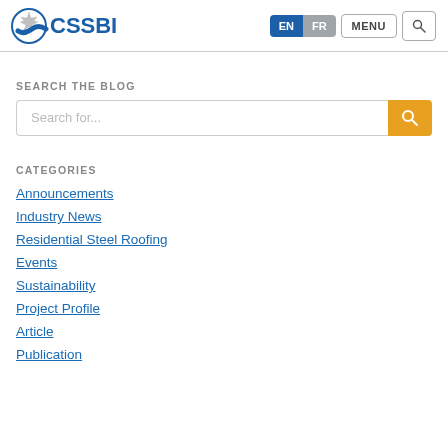CSSBI - EN FR MENU [search icon]
SEARCH THE BLOG
Search for...
CATEGORIES
Announcements
Industry News
Residential Steel Roofing
Events
Sustainability
Project Profile
Article
Publication